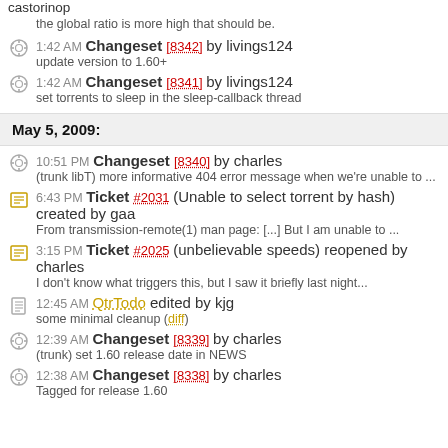castorinop
the global ratio is more high that should be.
1:42 AM Changeset [8342] by livings124 — update version to 1.60+
1:42 AM Changeset [8341] by livings124 — set torrents to sleep in the sleep-callback thread
May 5, 2009:
10:51 PM Changeset [8340] by charles — (trunk libT) more informative 404 error message when we're unable to ...
6:43 PM Ticket #2031 (Unable to select torrent by hash) created by gaa — From transmission-remote(1) man page: [...] But I am unable to ...
3:15 PM Ticket #2025 (unbelievable speeds) reopened by charles — I don't know what triggers this, but I saw it briefly last night...
12:45 AM QtrTodo edited by kjg — some minimal cleanup (diff)
12:39 AM Changeset [8339] by charles — (trunk) set 1.60 release date in NEWS
12:38 AM Changeset [8338] by charles — Tagged for release 1.60